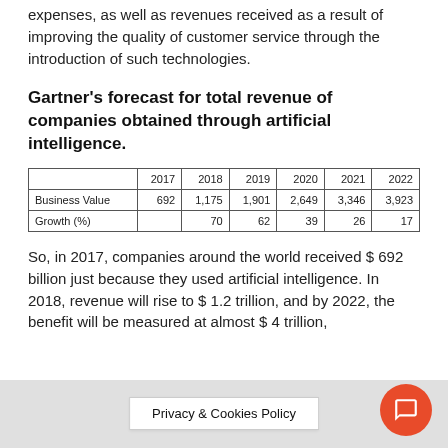expenses, as well as revenues received as a result of improving the quality of customer service through the introduction of such technologies.
Gartner's forecast for total revenue of companies obtained through artificial intelligence.
|  | 2017 | 2018 | 2019 | 2020 | 2021 | 2022 |
| --- | --- | --- | --- | --- | --- | --- |
| Business Value | 692 | 1,175 | 1,901 | 2,649 | 3,346 | 3,923 |
| Growth (%) |  | 70 | 62 | 39 | 26 | 17 |
So, in 2017, companies around the world received $ 692 billion just because they used artificial intelligence. In 2018, revenue will rise to $ 1.2 trillion, and by 2022, the benefit will be measured at almost $ 4 trillion,
Privacy & Cookies Policy